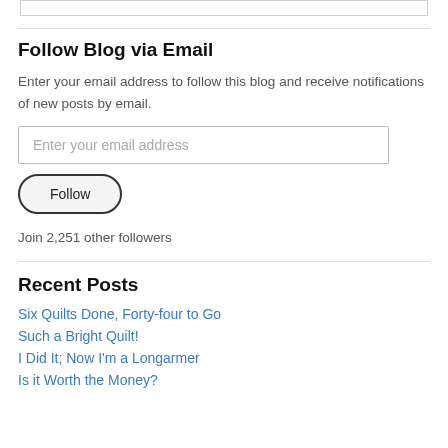Follow Blog via Email
Enter your email address to follow this blog and receive notifications of new posts by email.
Enter your email address
Follow
Join 2,251 other followers
Recent Posts
Six Quilts Done, Forty-four to Go
Such a Bright Quilt!
I Did It; Now I'm a Longarmer
Is it Worth the Money?